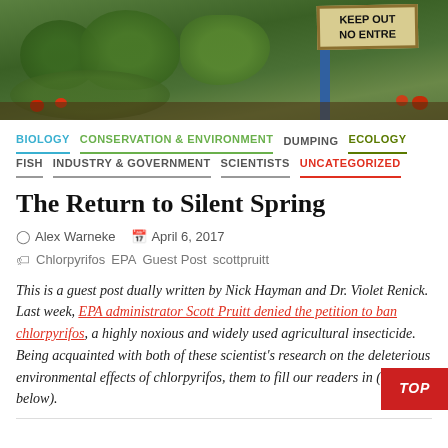[Figure (photo): Photograph of a strawberry field with a 'KEEP OUT / NO ENTRE' sign on a blue post. Leafy green plants and red strawberries visible.]
BIOLOGY  CONSERVATION & ENVIRONMENT  DUMPING  ECOLOGY  FISH  INDUSTRY & GOVERNMENT  SCIENTISTS  UNCATEGORIZED
The Return to Silent Spring
Alex Warneke   April 6, 2017
Chlorpyrifos  EPA  Guest Post  scottpruitt
This is a guest post dually written by Nick Hayman and Dr. Violet Renick. Last week, EPA administrator Scott Pruitt denied the petition to ban chlorpyrifos, a highly noxious and widely used agricultural insecticide. Being acquainted with both of these scientist's research on the deleterious environmental effects of chlorpyrifos, them to fill our readers in (see bios below).